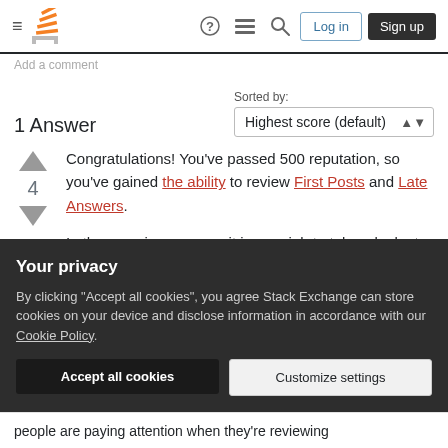Stack Exchange — Log in | Sign up
Add a comment
1 Answer
Sorted by: Highest score (default)
Congratulations! You've passed 500 reputation, so you've gained the ability to review First Posts and Late Answers.
In these review queues, it is your job to take a look at new users' posts and decide how to act on them. However, some people get lazy with their reviewing
Your privacy
By clicking "Accept all cookies", you agree Stack Exchange can store cookies on your device and disclose information in accordance with our Cookie Policy.
Accept all cookies
Customize settings
people are paying attention when they're reviewing